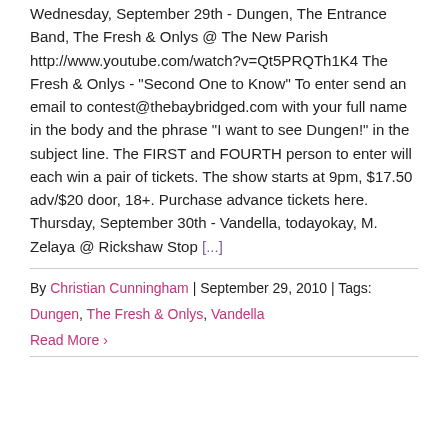Wednesday, September 29th - Dungen, The Entrance Band, The Fresh & Onlys @ The New Parish http://www.youtube.com/watch?v=Qt5PRQTh1K4 The Fresh & Onlys - "Second One to Know" To enter send an email to contest@thebaybridged.com with your full name in the body and the phrase "I want to see Dungen!" in the subject line. The FIRST and FOURTH person to enter will each win a pair of tickets. The show starts at 9pm, $17.50 adv/$20 door, 18+. Purchase advance tickets here. Thursday, September 30th - Vandella, todayokay, M. Zelaya @ Rickshaw Stop [...]
By Christian Cunningham | September 29, 2010 | Tags: Dungen, The Fresh & Onlys, Vandella
Read More ›